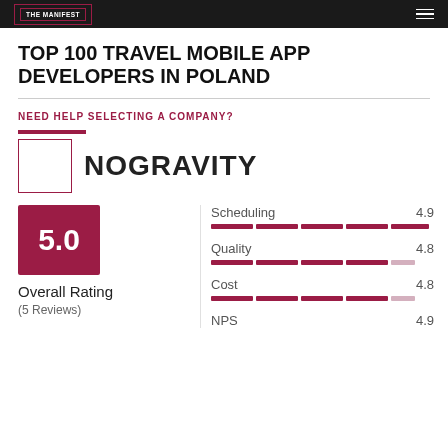THE MANIFEST
TOP 100 TRAVEL MOBILE APP DEVELOPERS IN POLAND
NEED HELP SELECTING A COMPANY?
NOGRAVITY
[Figure (infographic): Overall rating score box showing 5.0 in dark red/maroon square, with Overall Rating label and (5 Reviews) below]
[Figure (infographic): Scheduling metric 4.9 with dashed progress bar, Quality 4.8 with dashed progress bar, Cost 4.8 with dashed progress bar, NPS 4.9 label]